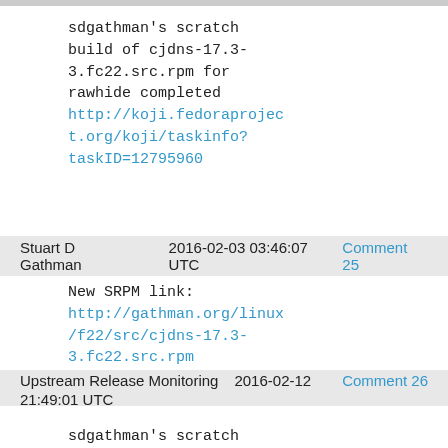sdgathman's scratch build of cjdns-17.3-3.fc22.src.rpm for rawhide completed http://koji.fedoraproject.org/koji/taskinfo?taskID=12795960
Stuart D Gathman   2016-02-03 03:46:07 UTC   Comment 25
New SRPM link:
http://gathman.org/linux/f22/src/cjdns-17.3-3.fc22.src.rpm
Upstream Release Monitoring   2016-02-12   Comment 26
21:49:01 UTC
sdgathman's scratch build of cjdns-17.3-4.fc22.src.rpm for